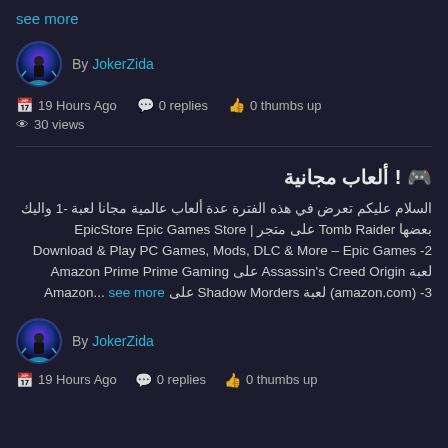see more
By JokerZida
19 Hours Ago   0 replies   0 thumbs up
30 views
🎮 ! ألعاب مجانية
السلام عليكم تعرض في هذه الفترة عدة ألعاب عالمية مجانا لعبة 1- والیك بعضها Tomb Raider على متجر EpicStore Epic Games Store | Download & Play PC Games, Mods, DLC & More – Epic Games 2- لعبة Assassin's Creed Origin على Amazon Prime Prime Gaming (amazon.com) 3- لعبة Shadow Morders على Amazon... see more
By JokerZida
19 Hours Ago   0 replies   0 thumbs up